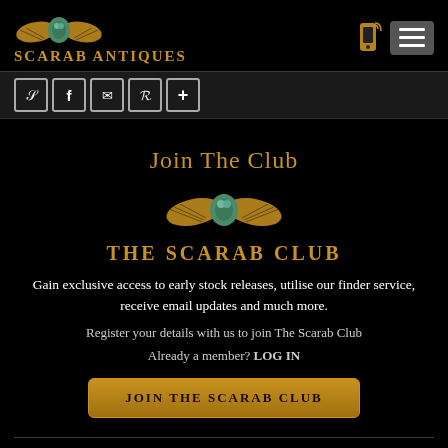SCARAB ANTIQUES
[Figure (logo): Scarab Antiques logo with golden winged scarab beetle and text SCARAB ANTIQUES in gold]
[Figure (infographic): Social sharing icons: Twitter (e), Facebook (f), Email (envelope), Pinterest (P), Plus (+)]
Join The Club
[Figure (logo): Golden winged scarab beetle logo for The Scarab Club]
THE SCARAB CLUB
Gain exclusive access to early stock releases, utilise our finder service, receive email updates and much more.
Register your details with us to join The Scarab Club
Already a member? LOG IN
JOIN THE SCARAB CLUB